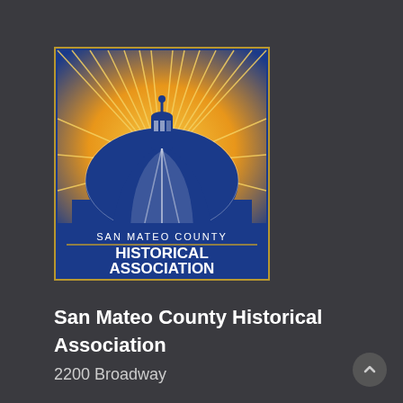[Figure (logo): San Mateo County Historical Association logo: blue rectangular frame with a domed capitol building silhouette in dark blue against golden sunburst rays on a blue-to-gold gradient background. Text at bottom reads 'SAN MATEO COUNTY' in small caps and 'HISTORICAL ASSOCIATION' in large bold white letters with a horizontal dividing line.]
San Mateo County Historical Association
2200 Broadway